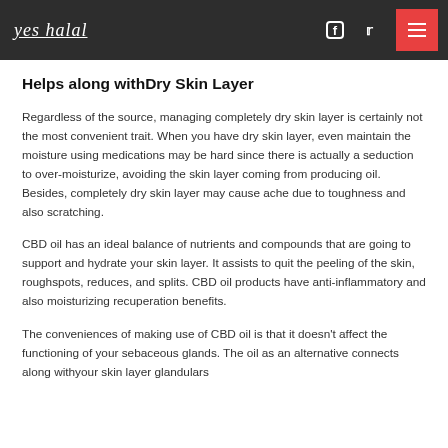yes halal
Helps along withDry Skin Layer
Regardless of the source, managing completely dry skin layer is certainly not the most convenient trait. When you have dry skin layer, even maintain the moisture using medications may be hard since there is actually a seduction to over-moisturize, avoiding the skin layer coming from producing oil. Besides, completely dry skin layer may cause ache due to toughness and also scratching.
CBD oil has an ideal balance of nutrients and compounds that are going to support and hydrate your skin layer. It assists to quit the peeling of the skin, roughspots, reduces, and splits. CBD oil products have anti-inflammatory and also moisturizing recuperation benefits.
The conveniences of making use of CBD oil is that it doesn't affect the functioning of your sebaceous glands. The oil as an alternative connects along withyour skin layer glandulars